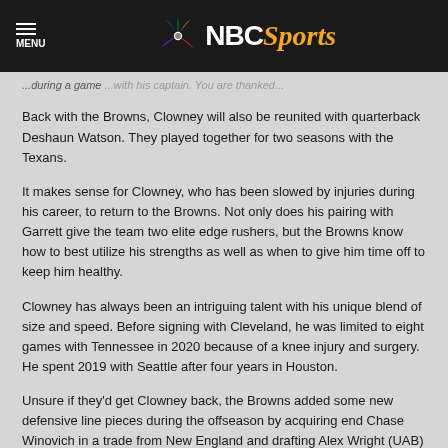NBC Sports
...along with his captain. You are thanked...
Back with the Browns, Clowney will also be reunited with quarterback Deshaun Watson. They played together for two seasons with the Texans.
It makes sense for Clowney, who has been slowed by injuries during his career, to return to the Browns. Not only does his pairing with Garrett give the team two elite edge rushers, but the Browns know how to best utilize his strengths as well as when to give him time off to keep him healthy.
Clowney has always been an intriguing talent with his unique blend of size and speed. Before signing with Cleveland, he was limited to eight games with Tennessee in 2020 because of a knee injury and surgery. He spent 2019 with Seattle after four years in Houston.
Unsure if they'd get Clowney back, the Browns added some new defensive line pieces during the offseason by acquiring end Chase Winovich in a trade from New England and drafting Alex Wright (UAB) and Oklahoma teammates Isaiah Thomas and Perrion Winfrey.